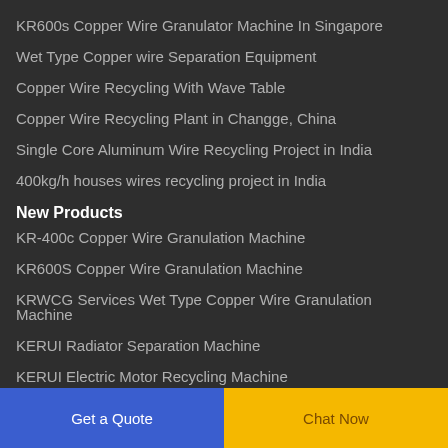KR600s Copper Wire Granulator Machine In Singapore
Wet Type Copper wire Separation Equipment
Copper Wire Recycling With Wave Table
Copper Wire Recycling Plant in Changge, China
Single Core Aluminum Wire Recycling Project in India
400kg/h houses wires recycling project in India
New Products
KR-400c Copper Wire Granulation Machine
KR600S Copper Wire Granulation Machine
KRWCG Services Wet Type Copper Wire Granulation Machine
KERUI Radiator Separation Machine
KERUI Electric Motor Recycling Machine
Get a Quote | Chat Now